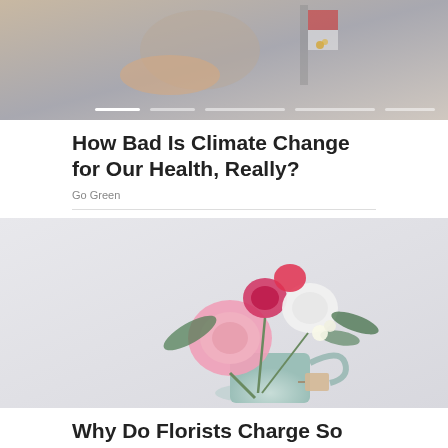[Figure (photo): A blurry background image showing a person with a flag or decorative item, with horizontal progress/slide indicator dots at the bottom]
How Bad Is Climate Change for Our Health, Really?
Go Green
[Figure (photo): A bouquet of pink, red, and white flowers including peonies and carnations in a pale mint-colored watering can with a gift tag, on a light gray background]
Why Do Florists Charge So Much Money?